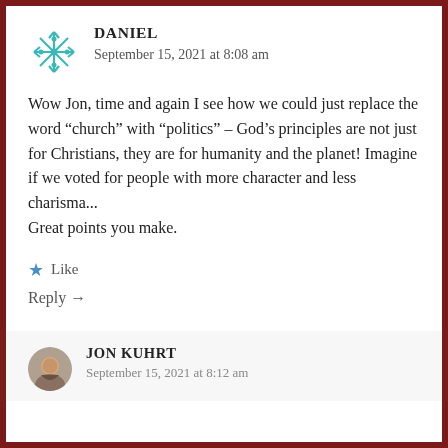[Figure (illustration): Teal/turquoise snowflake/geometric avatar icon for user Daniel]
DANIEL
September 15, 2021 at 8:08 am
Wow Jon, time and again I see how we could just replace the word “church” with “politics” – God’s principles are not just for Christians, they are for humanity and the planet! Imagine if we voted for people with more character and less charisma...
Great points you make.
★ Like
Reply →
[Figure (photo): Small circular profile photo of Jon Kuhrt, a man smiling]
JON KUHRT
September 15, 2021 at 8:12 am